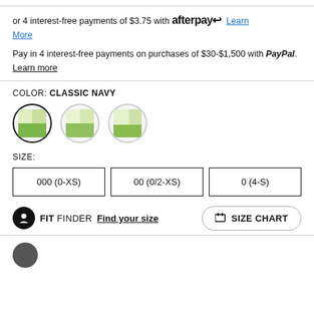or 4 interest-free payments of $3.75 with afterpay Learn More
Pay in 4 interest-free payments on purchases of $30-$1,500 with PayPal. Learn more
COLOR: CLASSIC NAVY
[Figure (other): Three circular color swatches, first one selected with dark border]
SIZE:
000 (0-XS)   00 (0/2-XS)   0 (4-S)
FIT FINDER Find your size   SIZE CHART
[Figure (other): Bottom icon row with circular icon]